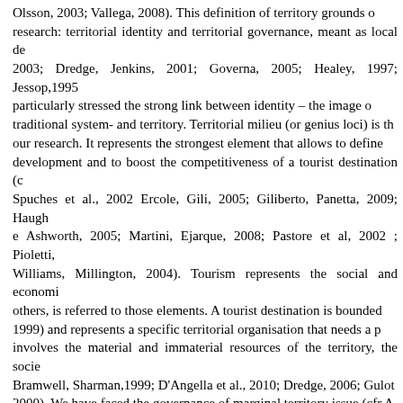Olsson, 2003; Vallega, 2008). This definition of territory grounds our research: territorial identity and territorial governance, meant as local de... 2003; Dredge, Jenkins, 2001; Governa, 2005; Healey, 1997; Jessop,1995 particularly stressed the strong link between identity – the image of traditional system- and territory. Territorial milieu (or genius loci) is the our research. It represents the strongest element that allows to define development and to boost the competitiveness of a tourist destination (c... Spuches et al., 2002 Ercole, Gili, 2005; Giliberto, Panetta, 2009; Haugh e Ashworth, 2005; Martini, Ejarque, 2008; Pastore et al, 2002 ; Pioletti, Williams, Millington, 2004). Tourism represents the social and economi... others, is referred to those elements. A tourist destination is bounded 1999) and represents a specific territorial organisation that needs a pr... involves the material and immaterial resources of the territory, the socie... Bramwell, Sharman,1999; D'Angella et al., 2010; Dredge, 2006; Gulot... 2000). We have faced the governance of marginal territory issue (cfr A... Puttilli, 2014): we have chosen Menfi (in Sicily) as case study to de... tourism destination. Menfi is an interesting territory to be analysed. It h... connotation, a specific productive branch and its public and private s... interests in its promotion and development. In this paper we wan... dimensions of tourism in Menfi and the destination management and m... wanted to show the Stake Holder perceptions in order to understand ho... structured and to know which possibilities of local development can be i... that in Menfi there is a shared vision and a strong synergy among t... development. The governance of Menfi can represent a good s...